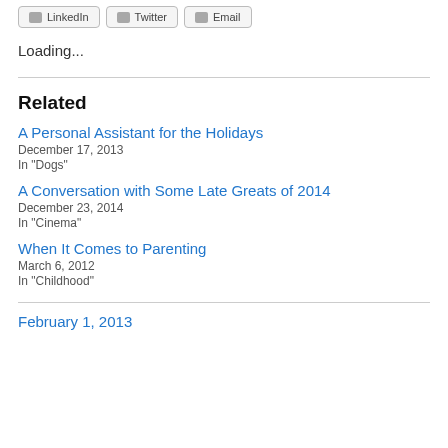Loading...
Related
A Personal Assistant for the Holidays
December 17, 2013
In "Dogs"
A Conversation with Some Late Greats of 2014
December 23, 2014
In "Cinema"
When It Comes to Parenting
March 6, 2012
In "Childhood"
February 1, 2013